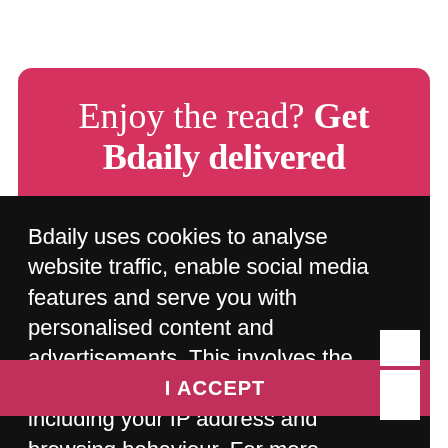Enjoy the read? Get Bdaily delivered
Bdaily uses cookies to analyse website traffic, enable social media features and serve you with personalised content and advertisements. This involves the processing of personal information including your IP address and browsing behaviour. For more information, please see our Cookies Policy
I ACCEPT
Opt in to another list